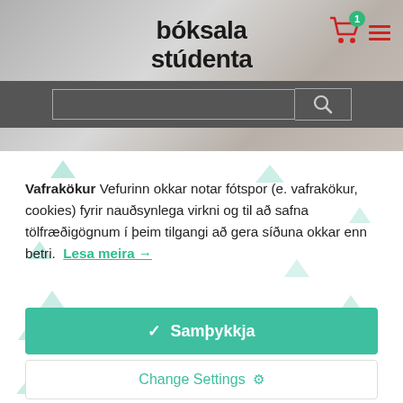[Figure (screenshot): Website header with 'bóksala stúdenta' logo, shopping cart icon with badge showing '1', and hamburger menu icon on a blurred background photo]
[Figure (screenshot): Dark grey search bar with text input field and search (magnifying glass) button]
Vafrakökur Vefurinn okkar notar fótspor (e. vafrakökur, cookies) fyrir nauðsynlega virkni og til að safna tölfræðigögnum í þeim tilgangi að gera síðuna okkar enn betri. Lesa meira →
✓ Samþykkja
Change Settings ⚙